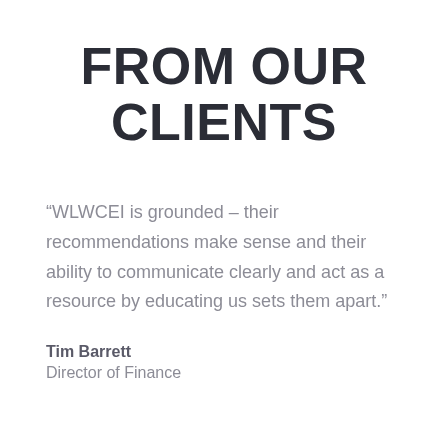FROM OUR CLIENTS
“WLWCEI is grounded – their recommendations make sense and their ability to communicate clearly and act as a resource by educating us sets them apart.”
Tim Barrett
Director of Finance